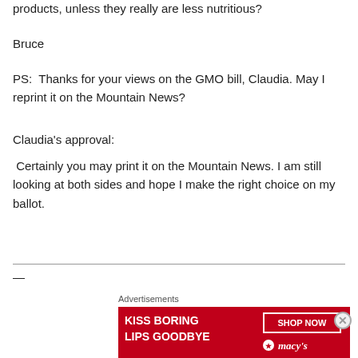products, unless they really are less nutritious?
Bruce
PS:  Thanks for your views on the GMO bill, Claudia. May I reprint it on the Mountain News?
Claudia’s approval:
Certainly you may print it on the Mountain News. I am still looking at both sides and hope I make the right choice on my ballot.
[Figure (other): Advertisement banner for Macy's with text 'KISS BORING LIPS GOODBYE' and 'SHOP NOW' button with Macy's star logo]